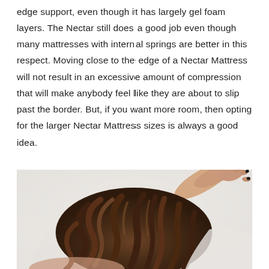edge support, even though it has largely gel foam layers. The Nectar still does a good job even though many mattresses with internal springs are better in this respect. Moving close to the edge of a Nectar Mattress will not result in an excessive amount of compression that will make anybody feel like they are about to slip past the border. But, if you want more room, then opting for the larger Nectar Mattress sizes is always a good idea.
[Figure (photo): Aerial/top-down view of a person with long brown curly hair lying on a white bed or mattress, with one arm extended upward showing dark-painted fingernails.]